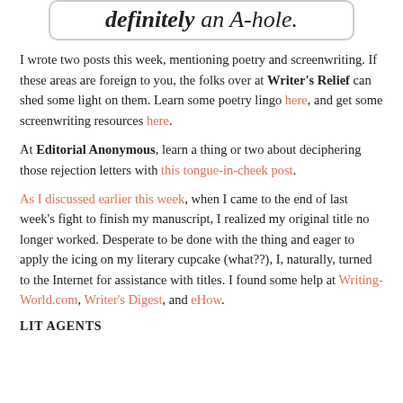[Figure (other): Rounded rectangle quote box containing italic text: 'definitely an A-hole.']
I wrote two posts this week, mentioning poetry and screenwriting.  If these areas are foreign to you, the folks over at Writer's Relief can shed some light on them.  Learn some poetry lingo here, and get some screenwriting resources here.
At Editorial Anonymous, learn a thing or two about deciphering those rejection letters with this tongue-in-cheek post.
As I discussed earlier this week, when I came to the end of last week's fight to finish my manuscript, I realized my original title no longer worked.  Desperate to be done with the thing and eager to apply the icing on my literary cupcake (what??), I, naturally, turned to the Internet for assistance with titles.  I found some help at Writing-World.com, Writer's Digest, and eHow.
LIT AGENTS